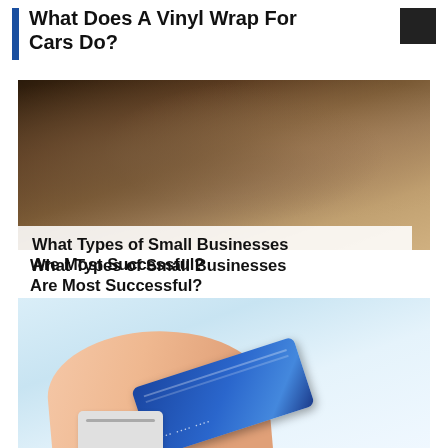What Does A Vinyl Wrap For Cars Do?
[Figure (photo): Two cafe workers behind a counter, one male and one female, with baked goods and coffee equipment visible. The female worker is smiling and appears to be arranging food items.]
What Types of Small Businesses Are Most Successful?
[Figure (photo): A hand inserting a blue credit card into a white card reader/payment terminal device, on a light blue background.]